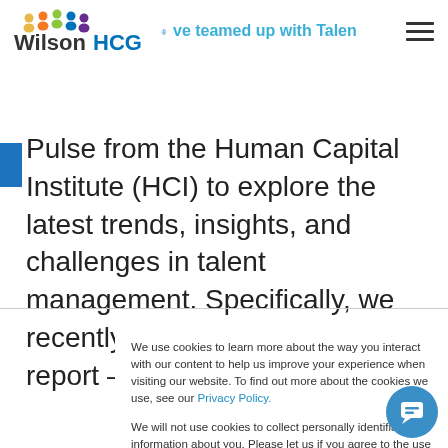WilsonHCG — we've teamed up with Talent Pulse from the Human Capital Institute (HCI)
Pulse from the Human Capital Institute (HCI) to explore the latest trends, insights, and challenges in talent management. Specifically, we recently released a unique report – Making
We use cookies to learn more about the way you interact with our content to help us improve your experience when visiting our website. To find out more about the cookies we use, see our Privacy Policy.

We will not use cookies to collect personally identifiable information about you. Please let us if you agree to the use of these cookies by clicking "Accept" below.